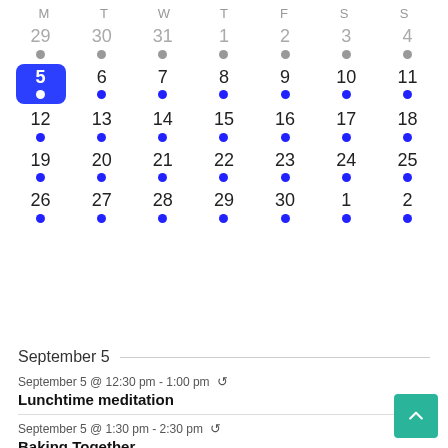[Figure (other): Monthly calendar view showing days of the week M T W T F S S. Row 1: 29-4 (gray dots). Row 2: 5 (selected/highlighted blue with white dot), 6-11 (blue dots). Row 3: 12-18 (blue dots). Row 4: 19-25 (blue dots). Row 5: 26-30, 1-2 (blue dots).]
September 5
September 5 @ 12:30 pm - 1:00 pm ↺
Lunchtime meditation
September 5 @ 1:30 pm - 2:30 pm ↺
Baking Together